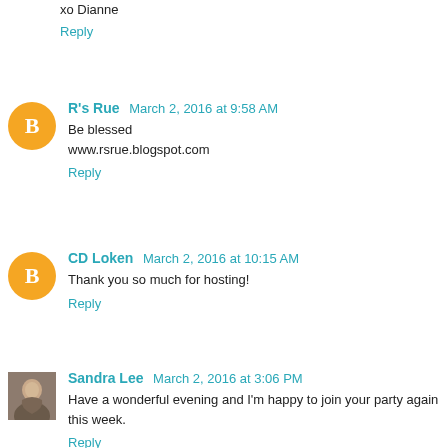xo Dianne
Reply
R's Rue March 2, 2016 at 9:58 AM
Be blessed
www.rsrue.blogspot.com
Reply
CD Loken March 2, 2016 at 10:15 AM
Thank you so much for hosting!
Reply
Sandra Lee March 2, 2016 at 3:06 PM
Have a wonderful evening and I'm happy to join your party again this week.
Reply